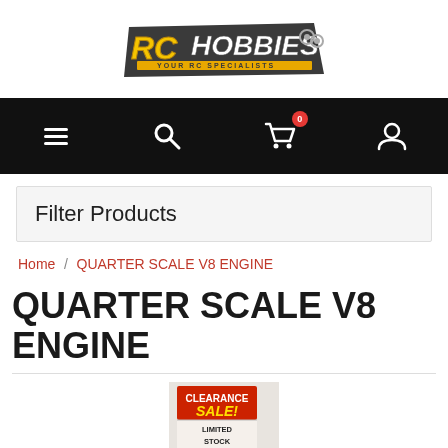[Figure (logo): RC Hobbies logo — yellow RC letters with grey/black HOBBIES text and tagline YOUR RC SPECIALISTS on an orange/yellow bar]
[Figure (screenshot): Black navigation bar with hamburger menu icon, search icon, shopping cart icon with red badge showing 0, and user account icon]
Filter Products
Home / QUARTER SCALE V8 ENGINE
QUARTER SCALE V8 ENGINE
[Figure (photo): Clearance Sale Limited Stock promotional banner/image]